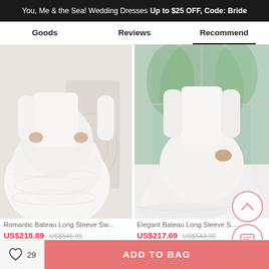You, Me & the Sea! Wedding Dresses Up to $25 OFF, Code: Bride
Goods   Reviews   Recommend
[Figure (photo): Wedding dress photo – Romantic Bateau Long Sleeve style, white ball gown with lace details against decorative white backdrop]
[Figure (photo): Wedding dress photo – Elegant Bateau Long Sleeve style, white flowing gown near large window with garden background]
Romantic Bateau Long Sleeve Sw...
US$218.89  US$546.99
Elegant Bateau Long Sleeve S...
US$217.69  US$543.99
× Get $5 off for your first order!
CLAIM NOW
♡ 29   ADD TO BAG